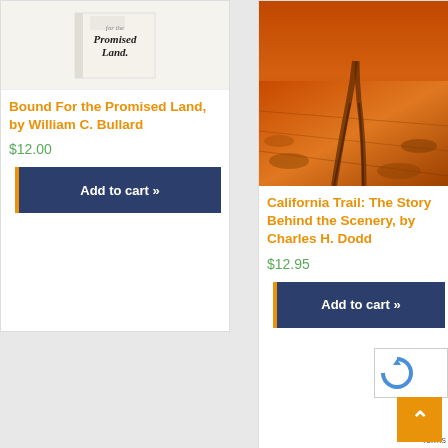[Figure (illustration): Book cover for 'Bound For the Promised Land' showing calligraphic script title on light background]
Bound For the Promised Land, by William C. Bullard
$12.00
Add to cart »
[Figure (photo): Orange-toned landscape photo of the California Trail showing dirt tracks through dry golden grasslands]
California Trail: The Story Behind the Scenery, by Charles H. Dodd
$12.95
Add to cart »